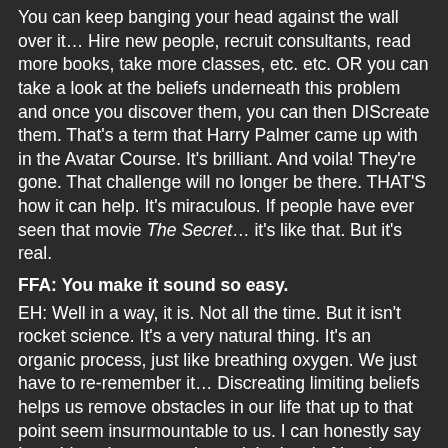You can keep banging your head against the wall over it... Hire new people, recruit consultants, read more books, take more classes, etc. etc. OR you can take a look at the beliefs underneath this problem and once you discover them, you can then DIScreate them. That's a term that Harry Palmer came up with in the Avatar Course. It's brilliant. And voila! They're gone. That challenge will no longer be there. THAT'S how it can help. It's miraculous. If people have ever seen that movie The Secret... it's like that. But it's real.
FFA: You make it sound so easy.
EH: Well in a way, it is. Not all the time. But it isn't rocket science. It's a very natural thing. It's an organic process, just like breathing oxygen. We just have to re-remember it... Discreating limiting beliefs helps us remove obstacles in our life that up to that point seem insurmountable to us. I can honestly say I would not have experienced the level of business success I have had in